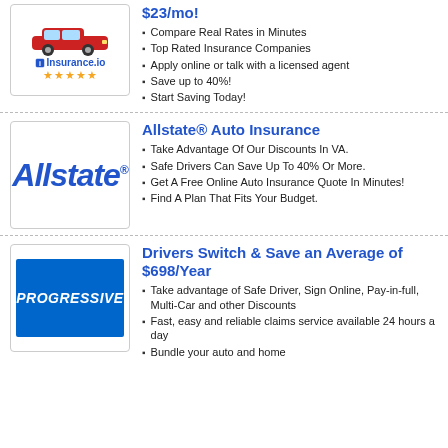[Figure (logo): Insurance.io logo with red car and 5 star rating]
$23/mo!
Compare Real Rates in Minutes
Top Rated Insurance Companies
Apply online or talk with a licensed agent
Save up to 40%!
Start Saving Today!
[Figure (logo): Allstate logo in blue italic text]
Allstate® Auto Insurance
Take Advantage Of Our Discounts In VA.
Safe Drivers Can Save Up To 40% Or More.
Get A Free Online Auto Insurance Quote In Minutes!
Find A Plan That Fits Your Budget.
[Figure (logo): Progressive logo white text on blue background]
Drivers Switch & Save an Average of $698/Year
Take advantage of Safe Driver, Sign Online, Pay-in-full, Multi-Car and other Discounts
Fast, easy and reliable claims service available 24 hours a day
Bundle your auto and home